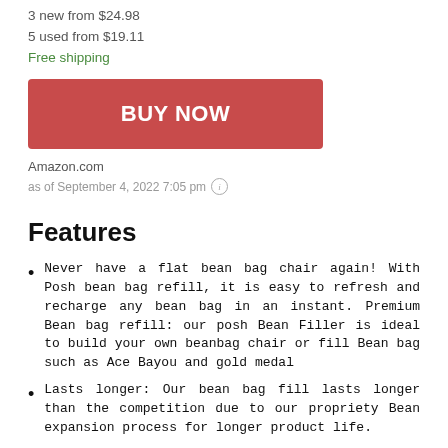3 new from $24.98
5 used from $19.11
Free shipping
BUY NOW
Amazon.com
as of September 4, 2022 7:05 pm
Features
Never have a flat bean bag chair again! With Posh bean bag refill, it is easy to refresh and recharge any bean bag in an instant. Premium Bean bag refill: our posh Bean Filler is ideal to build your own beanbag chair or fill Bean bag such as Ace Bayou and gold medal
Lasts longer: Our bean bag fill lasts longer than the competition due to our propriety Bean expansion process for longer product life.
Made in the USA: all of our bean refills are expanded right here in the USA which ensures the best Quality